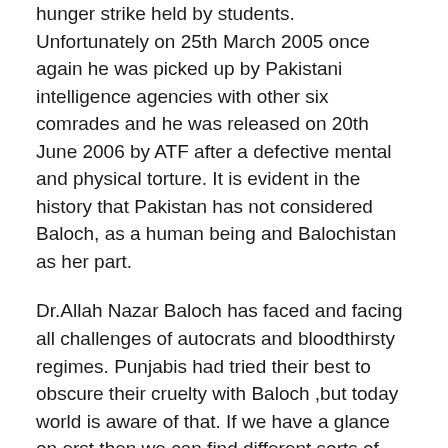hunger strike held by students. Unfortunately on 25th March 2005 once again he was picked up by Pakistani intelligence agencies with other six comrades and he was released on 20th June 2006 by ATF after a defective mental and physical torture. It is evident in the history that Pakistan has not considered Baloch, as a human being and Balochistan as her part.
Dr.Allah Nazar Baloch has faced and facing all challenges of autocrats and bloodthirsty regimes. Punjabis had tried their best to obscure their cruelty with Baloch ,but today world is aware of that. If we have a glance on erst,then we can find different sorts of cruelty on Baloch people. Therefore today Allah Nezar has a strong stand against Pakistan. The ramp up incursions brought a change for the young Baloch about which Pakistan is worried . Dr. Allah Nazar is eliminating obstacles from his way of freedom.